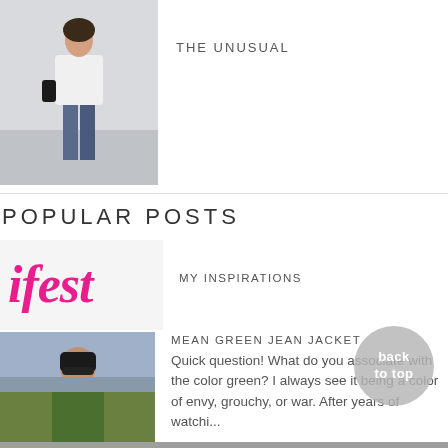[Figure (photo): Thumbnail photo of a woman in white blazer and ripped jeans (fashion blog post image)]
THE UNUSUAL
POPULAR POSTS
[Figure (photo): Colorful lifestyle/festival text graphic showing 'ifest' in pink italic font]
MY INSPIRATIONS
[Figure (photo): Photo of a woman wearing sunglasses and a green jacket]
MEAN GREEN JEAN JACKET
Quick question! What do you associate with the color green? I always see it being a color of envy, grouchy, or war. After years of watchi...
[Figure (photo): Photo of a Balinese temple with trees in the background]
BALI BEGINNER GUIDE | TRAVELER NOTES
Bali is, no doubt, one of the most beautiful places I've ever been to. Trust me, I'm not even exaggerating one bit! Most areas in...
[Figure (other): Back to top button, circular grey overlay with text 'back to top']